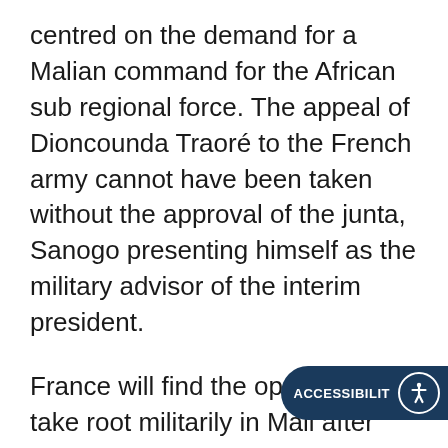centred on the demand for a Malian command for the African sub regional force. The appeal of Dioncounda Traoré to the French army cannot have been taken without the approval of the junta, Sanogo presenting himself as the military advisor of the interim president.
France will find the opportunity to take root militarily in Mali after fifty years of comparatively timid military relations. France is already responsible for the training of the Malian army and that of neighbouring Niger, also at risk from jihadism, and whose president supported the French position on the